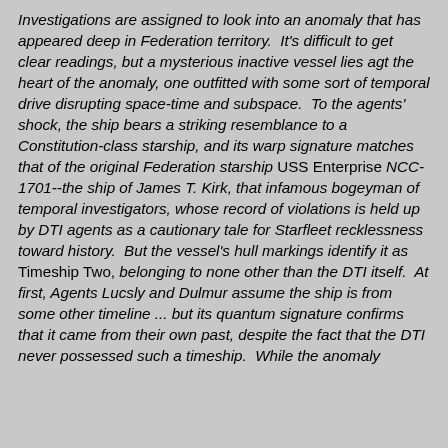Investigations are assigned to look into an anomaly that has appeared deep in Federation territory.  It's difficult to get clear readings, but a mysterious inactive vessel lies agt the heart of the anomaly, one outfitted with some sort of temporal drive disrupting space-time and subspace.  To the agents' shock, the ship bears a striking resemblance to a Constitution-class starship, and its warp signature matches that of the original Federation starship USS Enterprise NCC-1701--the ship of James T. Kirk, that infamous bogeyman of temporal investigators, whose record of violations is held up by DTI agents as a cautionary tale for Starfleet recklessness toward history.  But the vessel's hull markings identify it as Timeship Two, belonging to none other than the DTI itself.  At first, Agents Lucsly and Dulmur assume the ship is from some other timeline ... but its quantum signature confirms that it came from their own past, despite the fact that the DTI never possessed such a timeship.  While the anomaly